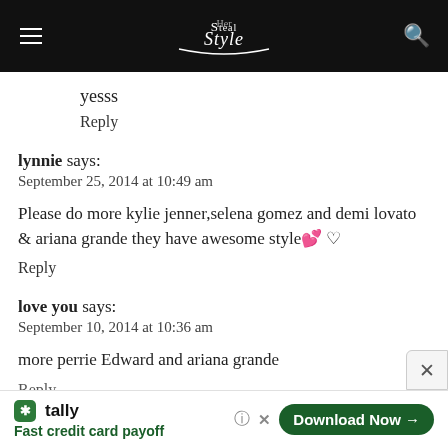Steal Her Style
yesss
Reply
lynnie says:
September 25, 2014 at 10:49 am
Please do more kylie jenner,selena gomez and demi lovato & ariana grande they have awesome style💕 ♡
Reply
love you says:
September 10, 2014 at 10:36 am
more perrie Edward and ariana grande
Reply
Tally
Fast credit card payoff
Download Now →